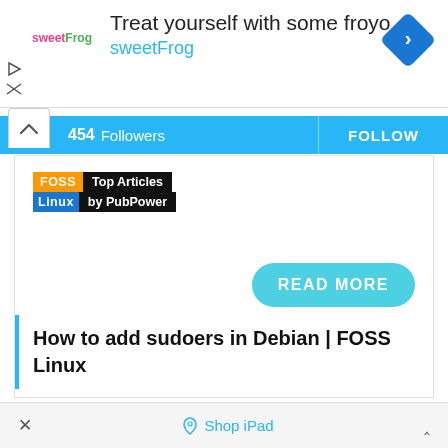[Figure (screenshot): SweetFrog advertisement banner with logo, text 'Treat yourself with some froyo sweetFrog', and a blue diamond navigation icon]
454  Followers   FOLLOW
[Figure (logo): FOSS Linux Top Articles by PubPower logo with orange FOSS box, blue Linux box, and black text boxes]
READ MORE
How to add sudoers in Debian | FOSS Linux
× ◇ Shop iPad ^